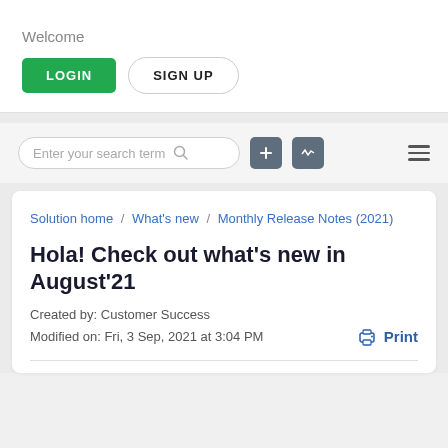Welcome
[Figure (screenshot): Login and Sign Up buttons. LOGIN is a green rounded rectangle button; SIGN UP is a white rounded rectangle button with border.]
[Figure (screenshot): Search bar with placeholder 'Enter your search term' and a magnifying glass icon, two dark icon buttons (plus and activity), and a hamburger menu icon on the right.]
Solution home / What's new / Monthly Release Notes (2021)
Hola! Check out what's new in August'21
Created by: Customer Success
Modified on: Fri, 3 Sep, 2021 at 3:04 PM